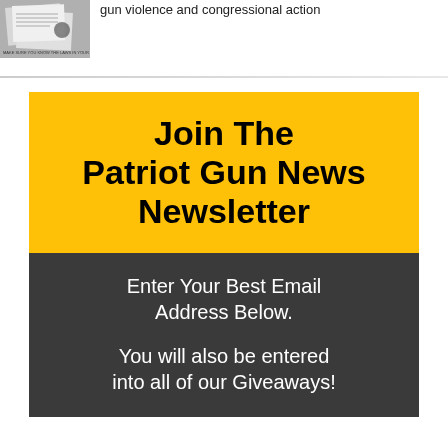[Figure (photo): Small thumbnail image of papers/documents]
gun violence and congressional action
Join The Patriot Gun News Newsletter
Enter Your Best Email Address Below.
You will also be entered into all of our Giveaways!